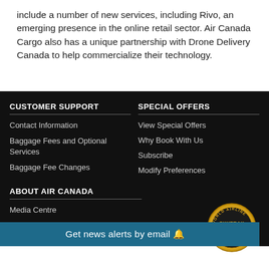include a number of new services, including Rivo, an emerging presence in the online retail sector. Air Canada Cargo also has a unique partnership with Drone Delivery Canada to help commercialize their technology.
CUSTOMER SUPPORT
Contact Information
Baggage Fees and Optional Services
Baggage Fee Changes
SPECIAL OFFERS
View Special Offers
Why Book With Us
Subscribe
Modify Preferences
ABOUT AIR CANADA
Media Centre
Official Languages
[Figure (logo): World Airline Skytrax Awards 2015 gold badge/medallion]
Get news alerts by email 🔔